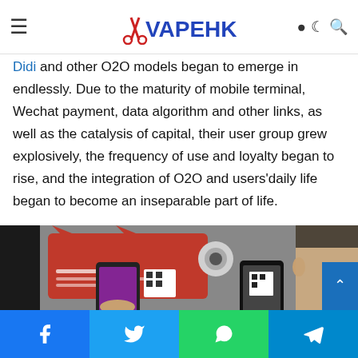VAPEHK
business under the promotion of the new model and the analysis of capital, meal delivery, door-to-door fresh food, door-to-door makeup,
Didi and other O2O models began to emerge in endlessly. Due to the maturity of mobile terminal, Wechat payment, data algorithm and other links, as well as the catalysis of capital, their user group grew explosively, the frequency of use and loyalty began to rise, and the integration of O2O and users'daily life began to become an inseparable part of life.
[Figure (photo): Photo of people scanning QR codes on smartphones at what appears to be a Tmall/Alibaba retail kiosk with a red card display featuring cat ears and a camera, with a person visible on the right side.]
Facebook | Twitter | WhatsApp | Telegram